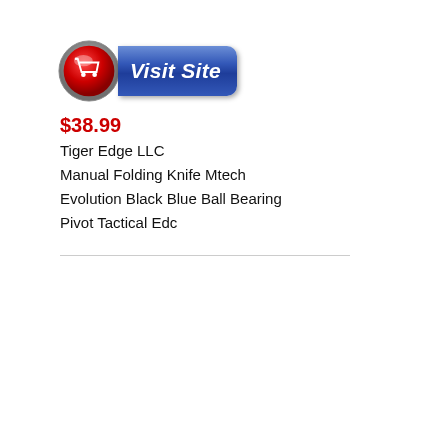[Figure (other): Visit Site button with red shopping cart circle icon on the left and blue pill-shaped label reading 'Visit Site' on the right]
$38.99
Tiger Edge LLC
Manual Folding Knife Mtech Evolution Black Blue Ball Bearing Pivot Tactical Edc